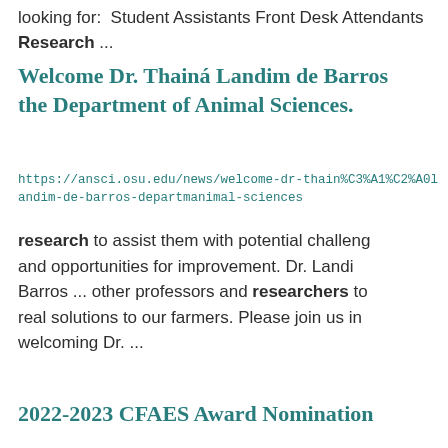looking for: Student Assistants Front Desk Attendants Research ...
Welcome Dr. Thainá Landim de Barros the Department of Animal Sciences.
https://ansci.osu.edu/news/welcome-dr-thain%C3%A1%C2%A0landim-de-barros-department-animal-sciences
research to assist them with potential challenges and opportunities for improvement. Dr. Landim Barros ... other professors and researchers to real solutions to our farmers. Please join us in welcoming Dr. ...
2022-2023 CFAES Award Nomination